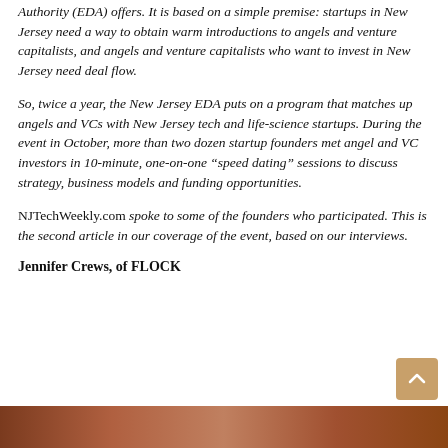Authority (EDA) offers. It is based on a simple premise: startups in New Jersey need a way to obtain warm introductions to angels and venture capitalists, and angels and venture capitalists who want to invest in New Jersey need deal flow.
So, twice a year, the New Jersey EDA puts on a program that matches up angels and VCs with New Jersey tech and life-science startups. During the event in October, more than two dozen startup founders met angel and VC investors in 10-minute, one-on-one “speed dating” sessions to discuss strategy, business models and funding opportunities.
NJTechWeekly.com spoke to some of the founders who participated. This is the second article in our coverage of the event, based on our interviews.
Jennifer Crews, of FLOCK
[Figure (photo): Partial image strip showing a person, visible at the bottom of the page]